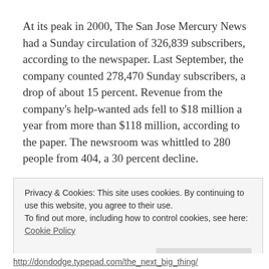At its peak in 2000, The San Jose Mercury News had a Sunday circulation of 326,839 subscribers, according to the newspaper. Last September, the company counted 278,470 Sunday subscribers, a drop of about 15 percent. Revenue from the company's help-wanted ads fell to $18 million a year from more than $118 million, according to the paper. The newsroom was whittled to 280 people from 404, a 30 percent decline.
Privacy & Cookies: This site uses cookies. By continuing to use this website, you agree to their use. To find out more, including how to control cookies, see here: Cookie Policy
http://dondodge.typepad.com/the_next_big_thing/